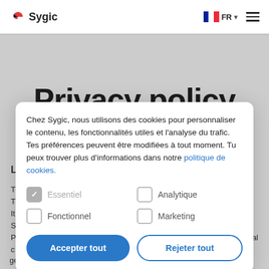Sygic — FR
Privacy policy
Chez Sygic, nous utilisons des cookies pour personnaliser le contenu, les fonctionnalités utiles et l'analyse du trafic. Tes préférences peuvent être modifiées à tout moment. Tu peux trouver plus d'informations dans notre politique de cookies.
Essentiel (checked)
Analytique
Fonctionnel
Marketing
Accepter tout | Rejeter tout
generally our products and services we provide to you including